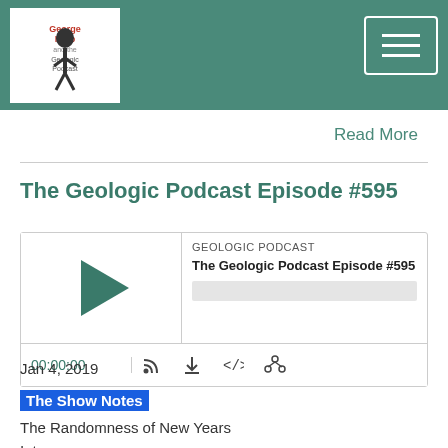George Hrab and the Geologic Podcast
Read More
The Geologic Podcast Episode #595
[Figure (screenshot): Podcast audio player widget showing GEOLOGIC PODCAST label, episode title 'The Geologic Podcast Episode #595', play button, progress bar, timestamp 00:00:00, and media control icons]
Jan 4, 2019
The Show Notes
The Randomness of New Years
Intro
Auditions
Ask George